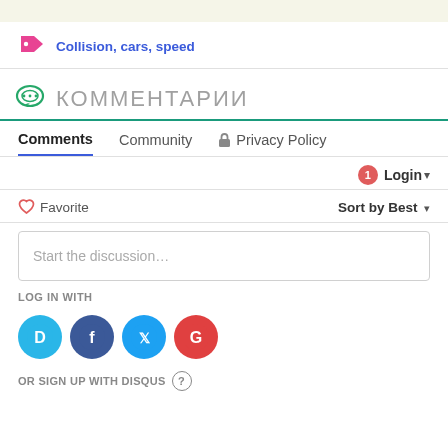Collision, cars, speed
КОММЕНТАРИИ
Comments  Community  Privacy Policy
Login
Favorite  Sort by Best
Start the discussion...
LOG IN WITH
OR SIGN UP WITH DISQUS